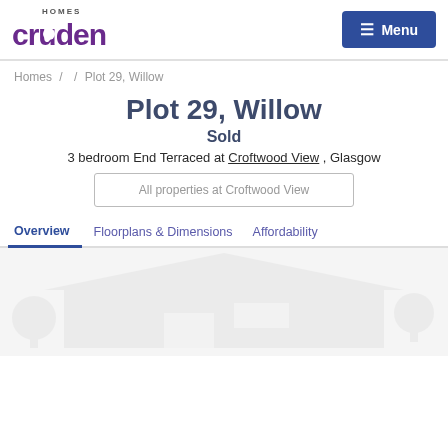Cruden Homes — Menu
Homes / / Plot 29, Willow
Plot 29, Willow
Sold
3 bedroom End Terraced at Croftwood View , Glasgow
All properties at Croftwood View
Overview   Floorplans & Dimensions   Affordability
[Figure (photo): Faded watermark/background image of a house, light grey]